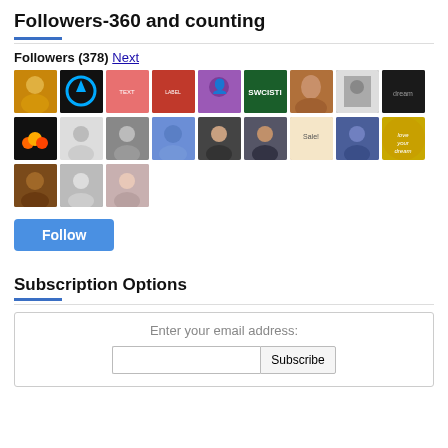Followers-360 and counting
Followers (378) Next
[Figure (other): Grid of 21 follower avatar thumbnails in three rows]
Follow
Subscription Options
Enter your email address:
Subscribe